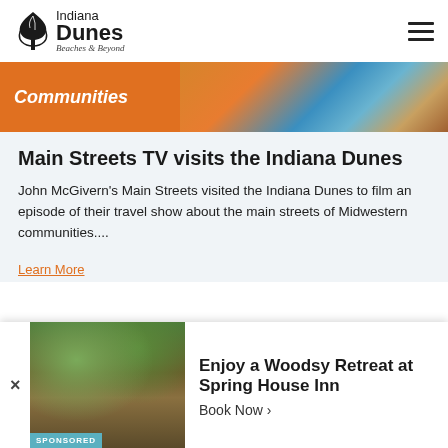[Figure (logo): Indiana Dunes Beaches & Beyond logo with stylized tree/plant icon]
[Figure (photo): Banner image showing Communities section with orange background and people's hands/arts scene]
Communities
Main Streets TV visits the Indiana Dunes
John McGivern's Main Streets visited the Indiana Dunes to film an episode of their travel show about the main streets of Midwestern communities....
Learn More
[Figure (photo): Woodsy lodge building exterior photo for Spring House Inn ad]
SPONSORED
Enjoy a Woodsy Retreat at Spring House Inn
Book Now ›